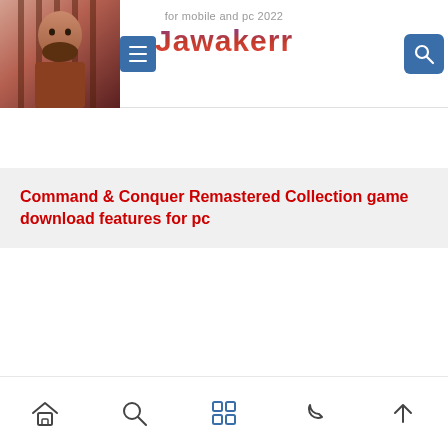[Figure (screenshot): Website header for Jawakerr - a mobile and pc games/apps site for 2022. Shows a thumbnail image of a game character on the left, a hamburger menu button (blue), the Jawakerr logo in the center with subtitle 'for mobile and pc 2022', and a search button (blue) on the right.]
Command & Conquer Remastered Collection game download features for pc
[Figure (screenshot): Bottom navigation bar with 5 icons: home, search, grid/apps, moon (dark mode), and up arrow.]